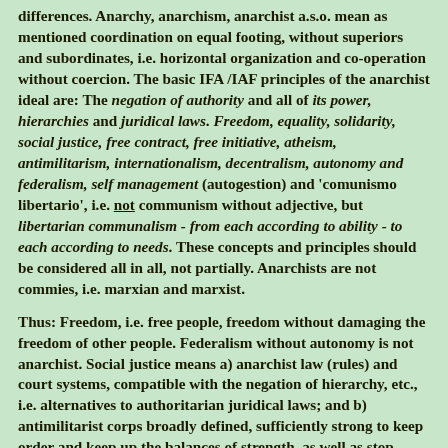differences. Anarchy, anarchism, anarchist a.s.o. mean as mentioned coordination on equal footing, without superiors and subordinates, i.e. horizontal organization and co-operation without coercion. The basic IFA /IAF principles of the anarchist ideal are: The negation of authority and all of its power, hierarchies and juridical laws. Freedom, equality, solidarity, social justice, free contract, free initiative, atheism, antimilitarism, internationalism, decentralism, autonomy and federalism, self management (autogestion) and 'comunismo libertario', i.e. not communism without adjective, but libertarian communalism - from each according to ability - to each according to needs. These concepts and principles should be considered all in all, not partially. Anarchists are not commies, i.e. marxian and marxist.
Thus: Freedom, i.e. free people, freedom without damaging the freedom of other people. Federalism without autonomy is not anarchist. Social justice means a) anarchist law (rules) and court systems, compatible with the negation of hierarchy, etc., i.e. alternatives to authoritarian juridical laws; and b) antimilitarist corps broadly defined, sufficiently strong to keep order and keep up the balances of strength, as well as stop militarism, intra- and internationally. Generally speaking, antimilitarism is not pacifism...
The...